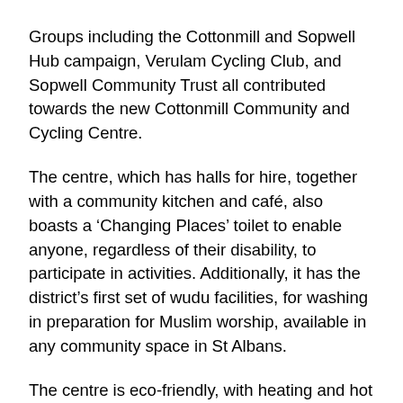Groups including the Cottonmill and Sopwell Hub campaign, Verulam Cycling Club, and Sopwell Community Trust all contributed towards the new Cottonmill Community and Cycling Centre.
The centre, which has halls for hire, together with a community kitchen and café, also boasts a ‘Changing Places’ toilet to enable anyone, regardless of their disability, to participate in activities. Additionally, it has the district’s first set of wudu facilities, for washing in preparation for Muslim worship, available in any community space in St Albans.
The centre is eco-friendly, with heating and hot water provided by an air source heat pump and solar panels, with no gas connection, and a small community orchard has been planted outside.
Outside there is a state-of-the-art pump track, which